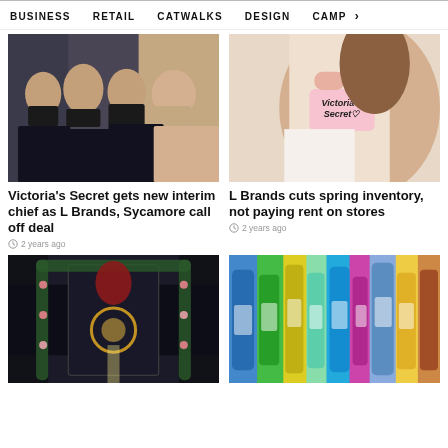BUSINESS   RETAIL   CATWALKS   DESIGN   CAMP >
[Figure (photo): Group of women in black lingerie/bikinis posing together]
Victoria's Secret gets new interim chief as L Brands, Sycamore call off deal
2 years ago
[Figure (photo): Woman holding a Victoria's Secret pink gift card close to her face]
L Brands cuts spring inventory, not paying rent on stores
2 years ago
[Figure (photo): Store window decorated with Christmas garlands and a glowing laurel wreath]
[Figure (photo): Colorful array of bath and beauty product bottles in rainbow arrangement]